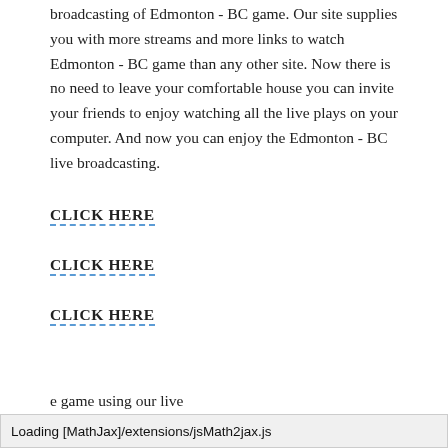broadcasting of Edmonton - BC game. Our site supplies you with more streams and more links to watch Edmonton - BC game than any other site. Now there is no need to leave your comfortable house you can invite your friends to enjoy watching all the live plays on your computer. And now you can enjoy the Edmonton - BC live broadcasting.
CLICK HERE
CLICK HERE
CLICK HERE
Loading [MathJax]/extensions/jsMath2jax.js
e game using our live